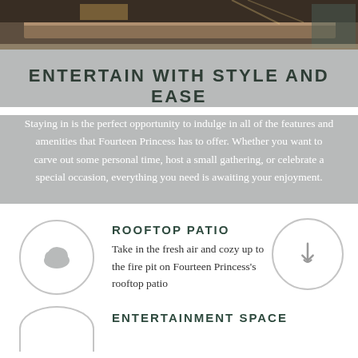[Figure (photo): Partial photo of a kitchen counter with marble surface and dark cabinetry]
ENTERTAIN WITH STYLE AND EASE
Staying in is the perfect opportunity to indulge in all of the features and amenities that Fourteen Princess has to offer. Whether you want to carve out some personal time, host a small gathering, or celebrate a special occasion, everything you need is awaiting your enjoyment.
ROOFTOP PATIO
Take in the fresh air and cozy up to the fire pit on Fourteen Princess's rooftop patio
ENTERTAINMENT SPACE